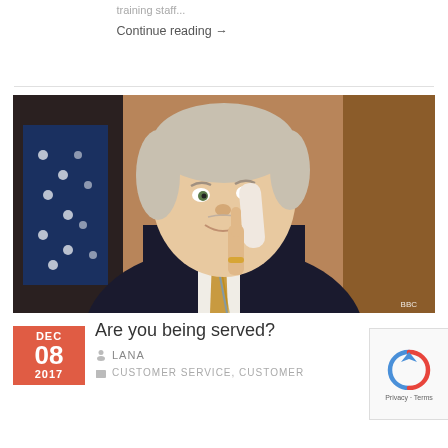training staff...
Continue reading →
[Figure (photo): A man in a pinstripe suit holding a telephone receiver with a knowing expression, BBC watermark visible in bottom right corner]
Are you being served?
LANA
CUSTOMER SERVICE, CUSTOMER